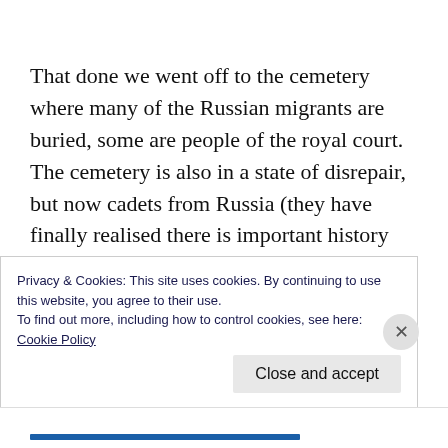That done we went off to the cemetery where many of the Russian migrants are buried, some are people of the royal court.
The cemetery is also in a state of disrepair, but now cadets from Russia (they have finally realised there is important history here) go there annually for tours and do some volunteer
Privacy & Cookies: This site uses cookies. By continuing to use this website, you agree to their use.
To find out more, including how to control cookies, see here:
Cookie Policy
Close and accept